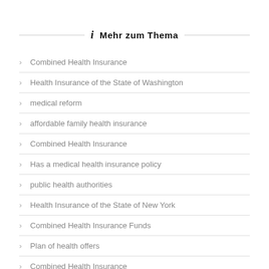Mehr zum Thema
Combined Health Insurance
Health Insurance of the State of Washington
medical reform
affordable family health insurance
Combined Health Insurance
Has a medical health insurance policy
public health authorities
Health Insurance of the State of New York
Combined Health Insurance Funds
Plan of health offers
Combined Health Insurance